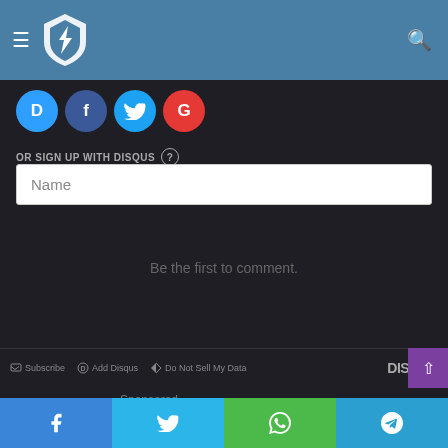Website header with hamburger menu, shield logo, search icon
[Figure (screenshot): Social login buttons: Disqus (D), Facebook (f), Twitter bird, Google (G) in colored circles]
OR SIGN UP WITH DISQUS
[Figure (screenshot): Name text input field with placeholder text 'Name']
Be the first to comment.
Subscribe   Add Disqus   Do Not Sell My Data   DISQUS
Sponsored
Social share buttons: Facebook, Twitter, WhatsApp, Telegram